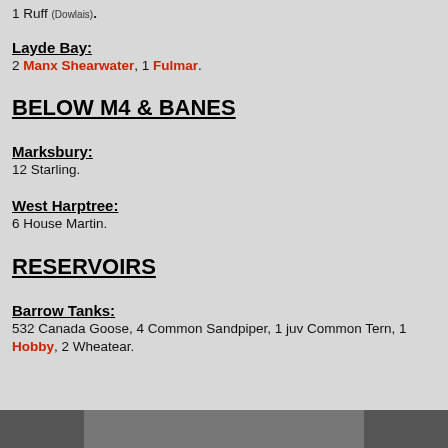1 Ruff (Dowlais).
Layde Bay:
2 Manx Shearwater, 1 Fulmar.
BELOW M4 & BANES
Marksbury:
12 Starling.
West Harptree:
6 House Martin.
RESERVOIRS
Barrow Tanks:
532 Canada Goose, 4 Common Sandpiper, 1 juv Common Tern, 1 Hobby, 2 Wheatear.
[Figure (photo): Partial photo visible at bottom of page]